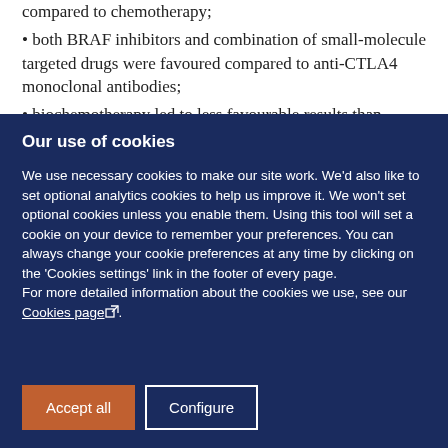compared to chemotherapy;
• both BRAF inhibitors and combination of small-molecule targeted drugs were favoured compared to anti-CTLA4 monoclonal antibodies;
• biochemotherapy led to less favourable results than BRAF inhibit…
Our use of cookies
We use necessary cookies to make our site work. We'd also like to set optional analytics cookies to help us improve it. We won't set optional cookies unless you enable them. Using this tool will set a cookie on your device to remember your preferences. You can always change your cookie preferences at any time by clicking on the 'Cookies settings' link in the footer of every page.
For more detailed information about the cookies we use, see our Cookies page.
Accept all
Configure